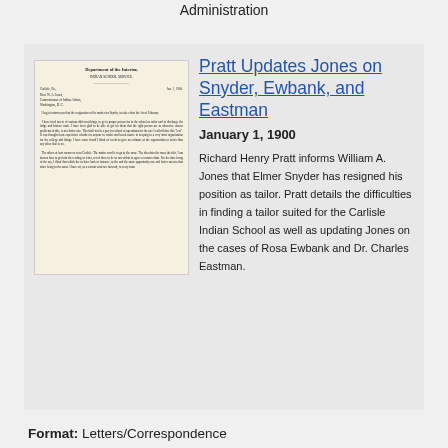Administration
[Figure (photo): Scanned letter on Department of the Interior, Indian School Service letterhead, dated January 1, 1900, handwritten and typed correspondence.]
Pratt Updates Jones on Snyder, Ewbank, and Eastman
January 1, 1900
Richard Henry Pratt informs William A. Jones that Elmer Snyder has resigned his position as tailor. Pratt details the difficulties in finding a tailor suited for the Carlisle Indian School as well as updating Jones on the cases of Rosa Ewbank and Dr. Charles Eastman.
Format: Letters/Correspondence